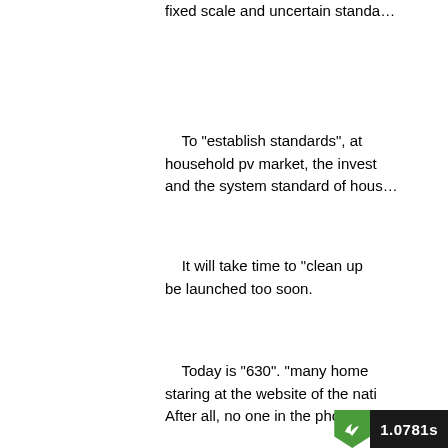fixed scale and uncertain standa...
To "establish standards", at... household pv market, the invest... and the system standard of hous...
It will take time to "clean up... be launched too soon.
Today is "630". "many home... staring at the website of the nati... After all, no one in the photovolt...